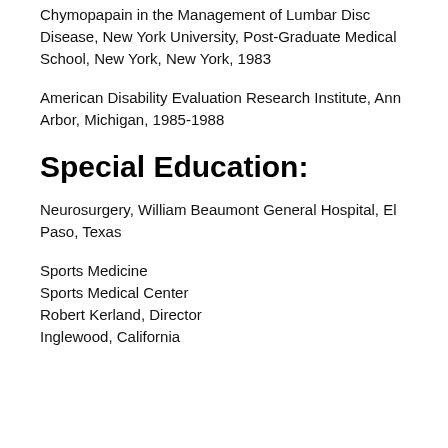Chymopapain in the Management of Lumbar Disc Disease, New York University, Post-Graduate Medical School, New York, New York, 1983
American Disability Evaluation Research Institute, Ann Arbor, Michigan, 1985-1988
Special Education:
Neurosurgery, William Beaumont General Hospital, El Paso, Texas
Sports Medicine
Sports Medical Center
Robert Kerland, Director
Inglewood, California